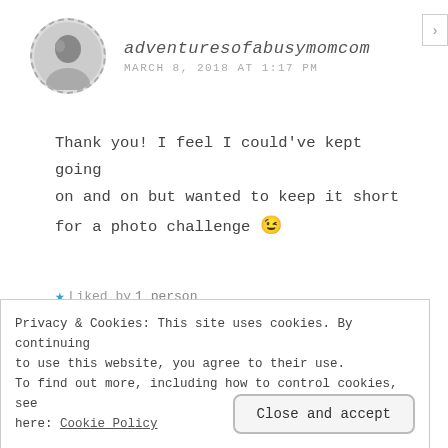[Figure (photo): Circular avatar photo of a woman, black-and-white, with dashed circular border]
adventuresofabusymomcom
MARCH 8, 2018 AT 1:17 PM
Thank you! I feel I could've kept going on and on but wanted to keep it short for a photo challenge 😉
★ Liked by 1_person
Reply
Privacy & Cookies: This site uses cookies. By continuing to use this website, you agree to their use. To find out more, including how to control cookies, see here: Cookie Policy
Close and accept